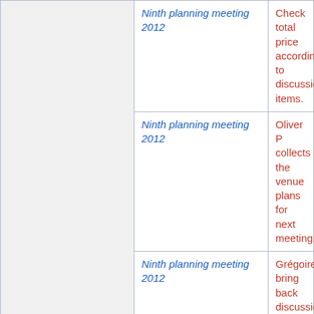|  | Meeting | Action |
| --- | --- | --- |
|  | Ninth planning meeting 2012 | Check total price according to discussion items. |
|  | Ninth planning meeting 2012 | Oliver P collects the venue plans for next meeting. |
|  | Ninth planning meeting 2012 | Grégoire bring back discussion to FFKP and come back with negotiationable terms after their board meeting August 27th. |
|  | Past Conferences | Write-up of 2013 |
|  | Seventh planning meeting 2012 | Ask last years responsible person about reception. Negative answer received. Continues looking. |
|  | Seventh planning meeting 2012 | Find new maps of the |